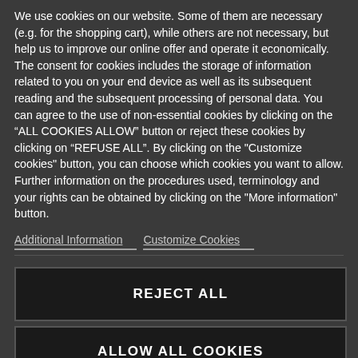We use cookies on our website. Some of them are necessary (e.g. for the shopping cart), while others are not necessary, but help us to improve our online offer and operate it economically. The consent for cookies includes the storage of information related to you on your end device as well as its subsequent reading and the subsequent processing of personal data. You can agree to the use of non-essential cookies by clicking on the “ALL COOKIES ALLOW” button or reject these cookies by clicking on “REFUSE ALL”. By clicking on the "Customize cookies" button, you can choose which cookies you want to allow. Further information on the procedures used, terminology and your rights can be obtained by clicking on the "More information" button.
Additional Information   Customize Cookies
REJECT ALL
ALLOW ALL COOKIES